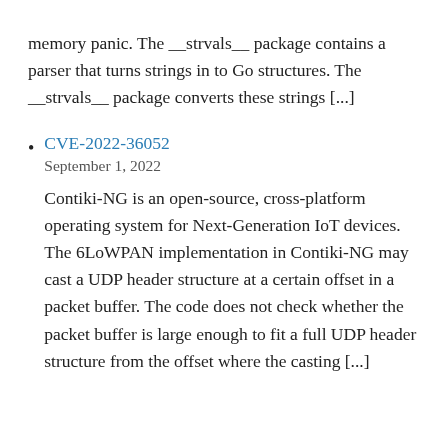memory panic. The __strvals__ package contains a parser that turns strings in to Go structures. The __strvals__ package converts these strings [...]
CVE-2022-36052
September 1, 2022
Contiki-NG is an open-source, cross-platform operating system for Next-Generation IoT devices. The 6LoWPAN implementation in Contiki-NG may cast a UDP header structure at a certain offset in a packet buffer. The code does not check whether the packet buffer is large enough to fit a full UDP header structure from the offset where the casting [...]